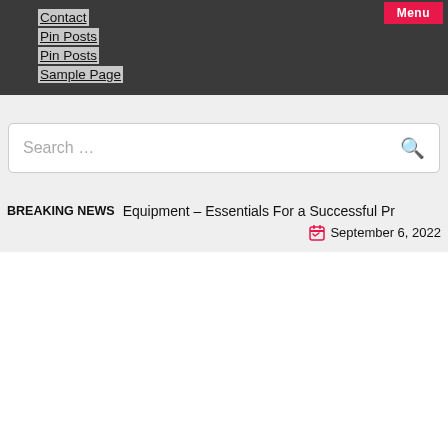Menu
Contact
Pin Posts
Pin Posts
Sample Page
Search …
BREAKING NEWS   Equipment – Essentials For a Successful Pr   September 6, 2022